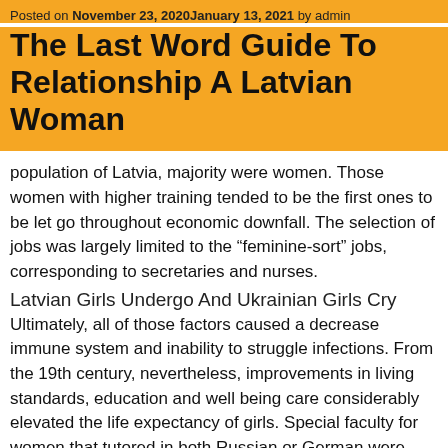Posted on November 23, 2020January 13, 2021 by admin
The Last Word Guide To Relationship A Latvian Woman
population of Latvia, majority were women. Those women with higher training tended to be the first ones to be let go throughout economic downfall. The selection of jobs was largely limited to the “feminine-sort” jobs, corresponding to secretaries and nurses.
Latvian Girls Undergo And Ukrainian Girls Cry
Ultimately, all of those factors caused a decrease immune system and inability to struggle infections. From the 19th century, nevertheless, improvements in living standards, education and well being care considerably elevated the life expectancy of girls. Special faculty for women that tutored in both Russian or German were established through the nineteenth century. Achieving training from a peasant